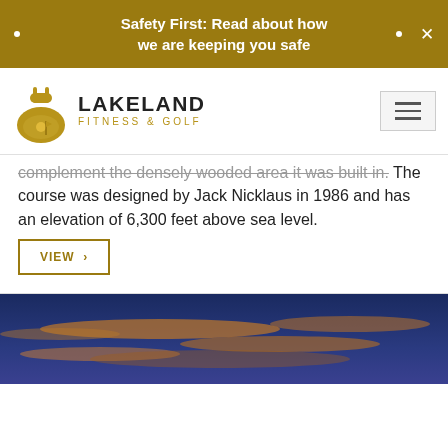Safety First: Read about how we are keeping you safe
[Figure (logo): Lakeland Fitness & Golf logo with kettlebell/golf scene icon]
complement the densely wooded area it was built in. The course was designed by Jack Nicklaus in 1986 and has an elevation of 6,300 feet above sea level.
VIEW ›
[Figure (photo): Sunset sky photo with blue and orange clouds]